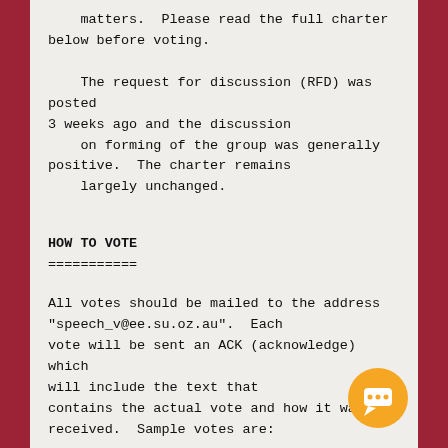matters.  Please read the full charter
below before voting.

    The request for discussion (RFD) was posted
3 weeks ago and the discussion
    on forming of the group was generally
positive.  The charter remains
    largely unchanged.
HOW TO VOTE
===========
All votes should be mailed to the address
"speech_v@ee.su.oz.au".  Each
vote will be sent an ACK (acknowledge) which
will include the text that
contains the actual vote and how it was
received.  Sample votes are: